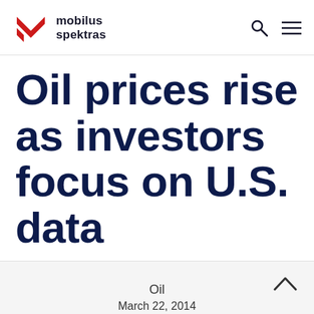mobilus spektras
Oil prices rise as investors focus on U.S. data
Oil
March 22, 2014